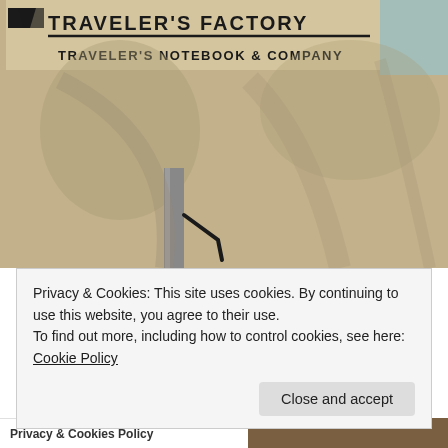[Figure (photo): Photograph of the exterior wall of Traveler's Factory store, showing the building facade with sandy/concrete texture. The logo sign reads 'TRAVELER'S FACTORY' with 'TRAVELER'S NOTEBOOK & COMPANY' below it. A metal railing/post is visible in the foreground center of the image.]
Privacy & Cookies: This site uses cookies. By continuing to use this website, you agree to their use.
To find out more, including how to control cookies, see here: Cookie Policy
Close and accept
Privacy & Cookies Policy